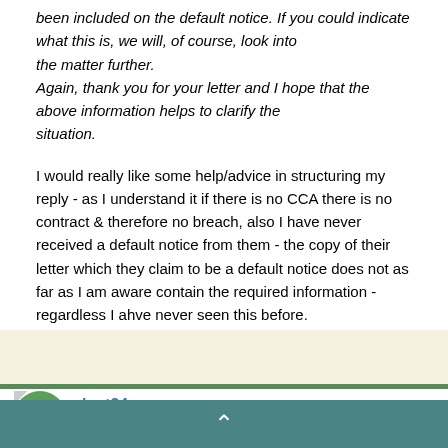been included on the default notice. If you could indicate what this is, we will, of course, look into the matter further. Again, thank you for your letter and I hope that the above information helps to clarify the situation.
I would really like some help/advice in structuring my reply - as I understand it if there is no CCA there is no contract & therefore no breach, also I have never received a default notice from them - the copy of their letter which they claim to be a default notice does not as far as I am aware contain the required information - regardless I ahve never seen this before.
this is the so called copy DN : -
lost24
Posted July 13, 2007
#4